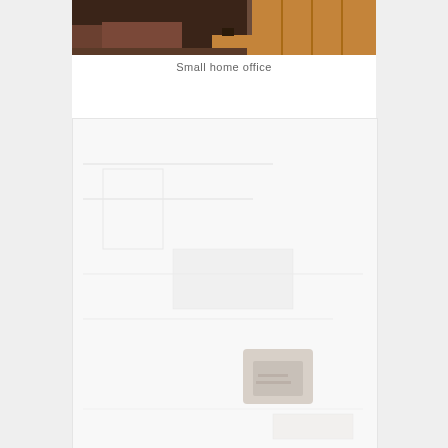[Figure (photo): A small home office scene showing a wooden desk, shelving with wood paneling in the background, and what appears to be a carpet or rug. The top portion of the image is visible, cropped at the top of the page.]
Small home office
[Figure (photo): A faded or low-contrast image of what appears to be a home office or room interior, mostly white/light with faint outlines of furniture and objects. A small darker object is visible in the lower right area.]